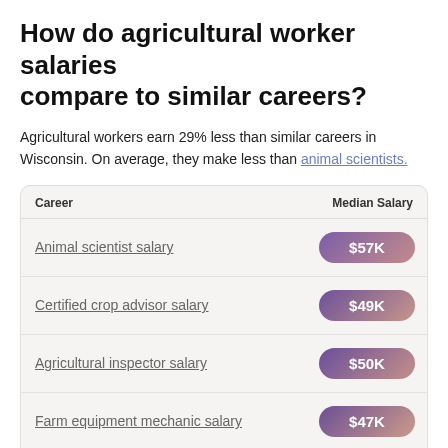How do agricultural worker salaries compare to similar careers?
Agricultural workers earn 29% less than similar careers in Wisconsin. On average, they make less than animal scientists.
| Career | Median Salary |
| --- | --- |
| Animal scientist salary | $57K |
| Certified crop advisor salary | $49K |
| Agricultural inspector salary | $50K |
| Farm equipment mechanic salary | $47K |
| Grain elevator worker salary | $36K |